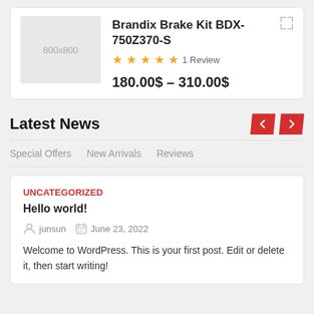[Figure (screenshot): Product card showing Brandix Brake Kit BDX-750Z370-S with placeholder 800x800 image, 5-star rating, 1 Review, price range 180.00$ – 310.00$]
Latest News
Special Offers   New Arrivals   Reviews
Uncategorized
Hello world!
junsun   June 23, 2022
Welcome to WordPress. This is your first post. Edit or delete it, then start writing!